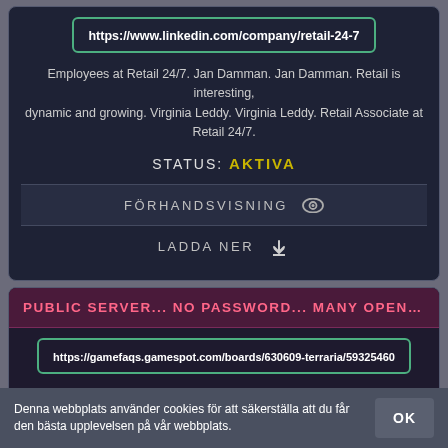https://www.linkedin.com/company/retail-24-7
Employees at Retail 24/7. Jan Damman. Jan Damman. Retail is interesting, dynamic and growing. Virginia Leddy. Virginia Leddy. Retail Associate at Retail 24/7.
STATUS: AKTIVA
FÖRHANDSVISNING
LADDA NER
PUBLIC SERVER... NO PASSWORD... MANY OPEN SLOTS... 24/7 ...
https://gamefaqs.gamespot.com/boards/630609-terraria/59325460
The world will be respawned at regular/irregular intervals to make sure that the resources and chests remain fresh. I will try to keep the server up 24/7
Denna webbplats använder cookies för att säkerställa att du får den bästa upplevelsen på vår webbplats.